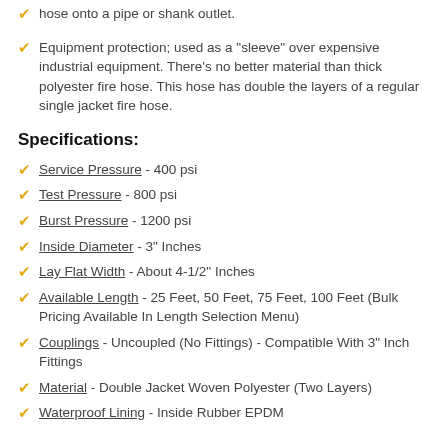hose onto a pipe or shank outlet.
Equipment protection; used as a "sleeve" over expensive industrial equipment.  There's no better material than thick polyester fire hose.  This hose has double the layers of a regular single jacket fire hose.
Specifications:
Service Pressure - 400 psi
Test Pressure - 800 psi
Burst Pressure - 1200 psi
Inside Diameter - 3" Inches
Lay Flat Width - About 4-1/2" Inches
Available Length - 25 Feet, 50 Feet, 75 Feet, 100 Feet (Bulk Pricing Available In Length Selection Menu)
Couplings - Uncoupled (No Fittings) - Compatible With 3" Inch Fittings
Material - Double Jacket Woven Polyester (Two Layers)
Waterproof Lining - Inside Rubber EPDM